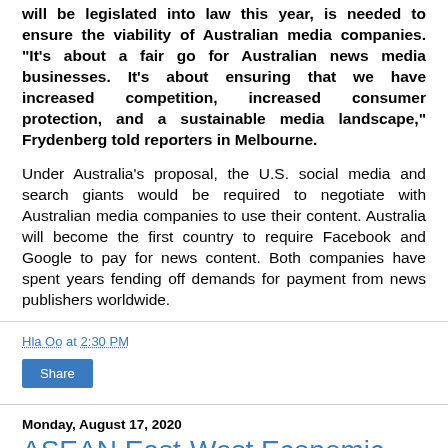will be legislated into law this year, is needed to ensure the viability of Australian media companies. "It's about a fair go for Australian news media businesses. It's about ensuring that we have increased competition, increased consumer protection, and a sustainable media landscape," Frydenberg told reporters in Melbourne.
Under Australia's proposal, the U.S. social media and search giants would be required to negotiate with Australian media companies to use their content. Australia will become the first country to require Facebook and Google to pay for news content. Both companies have spent years fending off demands for payment from news publishers worldwide.
Hla Oo at 2:30 PM
Share
Monday, August 17, 2020
ASEAN East-West Economic Corridor Railway